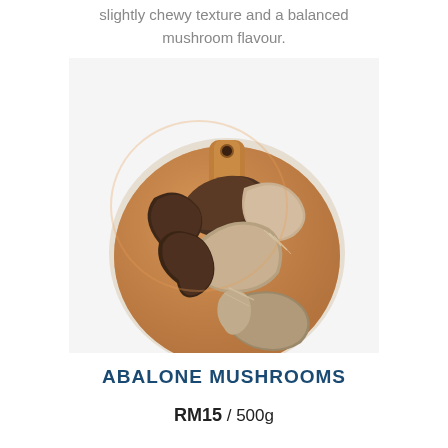slightly chewy texture and a balanced mushroom flavour.
[Figure (photo): Abalone mushrooms arranged on a round wooden cutting board, photographed from above on a white background.]
ABALONE MUSHROOMS
RM15 / 500g